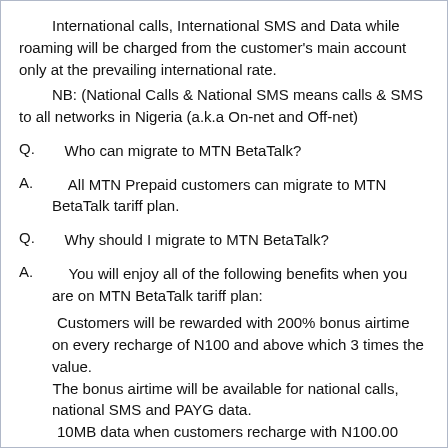International calls, International SMS and Data while roaming will be charged from the customer's main account only at the prevailing international rate.
NB: (National Calls & National SMS means calls & SMS to all networks in Nigeria (a.k.a On-net and Off-net)
Q.    Who can migrate to MTN BetaTalk?
A.    All MTN Prepaid customers can migrate to MTN BetaTalk tariff plan.
Q.    Why should I migrate to MTN BetaTalk?
A.    You will enjoy all of the following benefits when you are on MTN BetaTalk tariff plan:
Customers will be rewarded with 200% bonus airtime on every recharge of N100 and above which 3 times the value.
The bonus airtime will be available for national calls, national SMS and PAYG data.
10MB data when customers recharge with N100.00 airtime or